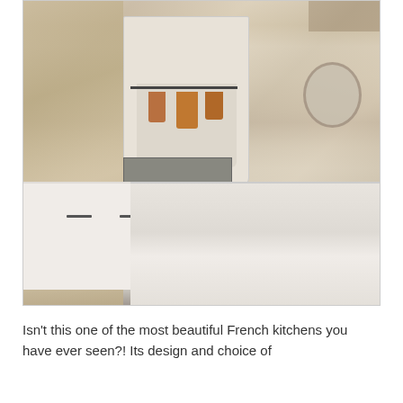[Figure (photo): A beautiful French-style kitchen interior with a large white plaster range hood, herringbone marble backsplash, copper pots hanging from a rack, gas stove, kitchen island with white quartz countertop, white cabinetry with dark hardware, stacked plates visible in open island shelf, mirror on the wall, and rustic wood ceiling beams.]
Isn't this one of the most beautiful French kitchens you have ever seen?! Its design and choice of